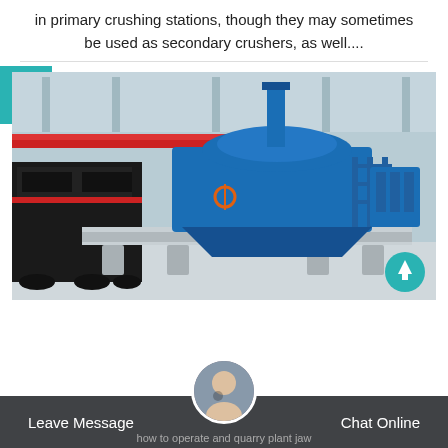in primary crushing stations, though they may sometimes be used as secondary crushers, as well....
[Figure (photo): Large blue industrial crusher/VSI machine on a platform inside a factory/industrial hall, with black machinery to the left and blue safety railings. A teal square accent is visible top-left.]
Leave Message   Chat Online
how to operate and quarry plant jaw